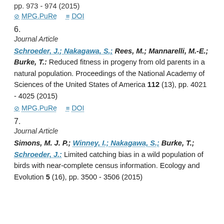pp. 973 - 974 (2015)
MPG.PuRe   DOI
6.
Journal Article
Schroeder, J.; Nakagawa, S.; Rees, M.; Mannarelli, M.-E.; Burke, T.: Reduced fitness in progeny from old parents in a natural population. Proceedings of the National Academy of Sciences of the United States of America 112 (13), pp. 4021 - 4025 (2015)
MPG.PuRe   DOI
7.
Journal Article
Simons, M. J. P.; Winney, I.; Nakagawa, S.; Burke, T.; Schroeder, J.: Limited catching bias in a wild population of birds with near-complete census information. Ecology and Evolution 5 (16), pp. 3500 - 3506 (2015)